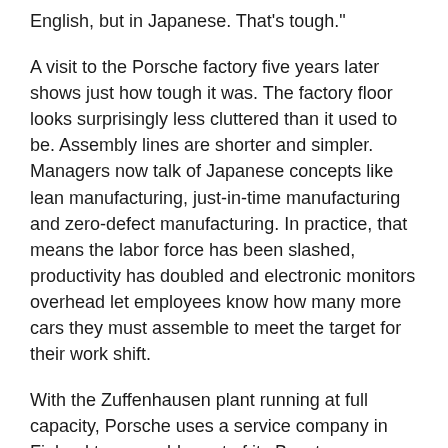English, but in Japanese. That's tough."
A visit to the Porsche factory five years later shows just how tough it was. The factory floor looks surprisingly less cluttered than it used to be. Assembly lines are shorter and simpler. Managers now talk of Japanese concepts like lean manufacturing, just-in-time manufacturing and zero-defect manufacturing. In practice, that means the labor force has been slashed, productivity has doubled and electronic monitors overhead let employees know how many more cars they must assemble to meet the target for their work shift.
With the Zuffenhausen plant running at full capacity, Porsche uses a service company in Finland to assemble part of its Boxster production. The underlying message to the trade unions is clear: if labor costs rise, Porsche–like Mercedes-Benz and BMW–is prepared to shift more production abroad. There are carrots as well. Bonuses are